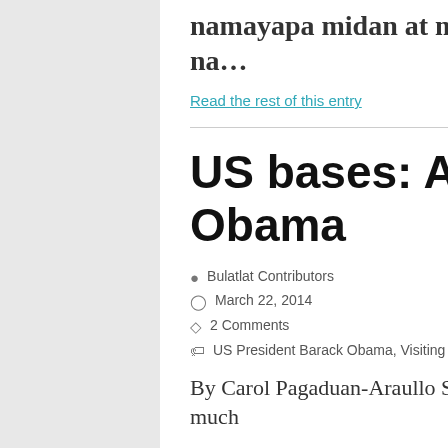namayapa midan at maraw sa gilid ng kalsada Sa durog na...
Read the rest of this entry
US bases: Aquino’s gift to Obama
Bulatlat Contributors
March 22, 2014
2 Comments
US President Barack Obama, Visiting Forces Agreement
By Carol Pagaduan-Araullo Streetwise | BusinessWorld This April, during the much